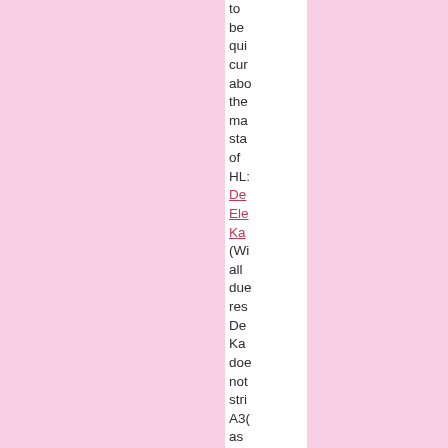to be qui cur abo the ma sta of HL: De Ele Ka (Wi all due res De Ka doe not stri A3 as